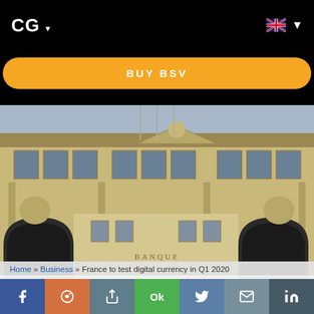CG ▾
BUY BSV
[Figure (photo): Facade of Banque de France building in Paris, showing ornate classical architecture with arched gates, columns, stone relief sculptures, and wrought-iron gates]
Home » Business » France to test digital currency in Q1 2020
We use cookies to ensure that we give you the best experience on our website. If you continue to use this site we will assume that you are happy with it.
BUSINESS   7 DECEMBER 2019   Steve Kaaru
f  [weibo]  [share]  Ok  [twitter]  [email]  in